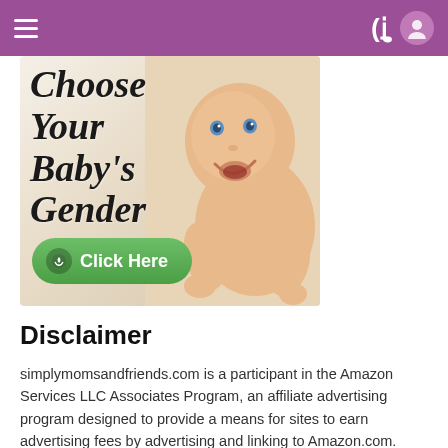≡ (navigation) | ) (user icon)
[Figure (illustration): Advertisement banner: 'Choose Your Baby's Gender' with a smiling baby photo and a green 'Click Here' button with a heart/checkmark icon.]
Disclaimer
simplymomsandfriends.com is a participant in the Amazon Services LLC Associates Program, an affiliate advertising program designed to provide a means for sites to earn advertising fees by advertising and linking to Amazon.com. Amazon and the Amazon logo are